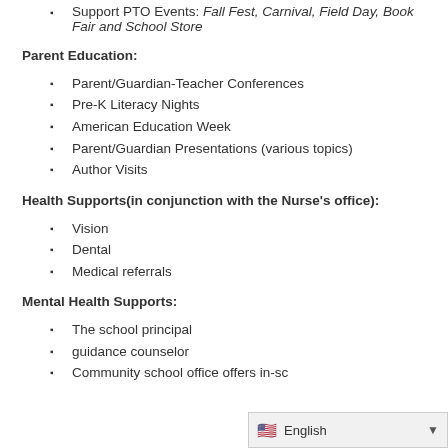Support PTO Events: Fall Fest, Carnival, Field Day, Book Fair and School Store
Parent Education:
Parent/Guardian-Teacher Conferences
Pre-K Literacy Nights
American Education Week
Parent/Guardian Presentations (various topics)
Author Visits
Health Supports(in conjunction with the Nurse's office):
Vision
Dental
Medical referrals
Mental Health Supports:
The school principal
guidance counselor
Community school office offers in-sc…